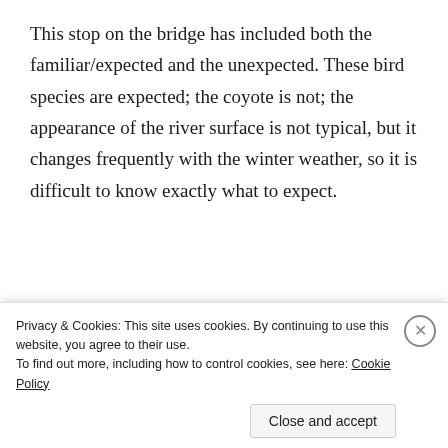This stop on the bridge has included both the familiar/expected and the unexpected. These bird species are expected; the coyote is not; the appearance of the river surface is not typical, but it changes frequently with the winter weather, so it is difficult to know exactly what to expect.
[Figure (other): Advertisement banner: Turn your blog into a money-making online course. Dark navy background with teal text and white arrow.]
REPORT THIS AD
Th... ll d... d th... b id... i... l d d... f th...
Privacy & Cookies: This site uses cookies. By continuing to use this website, you agree to their use.
To find out more, including how to control cookies, see here: Cookie Policy
Close and accept